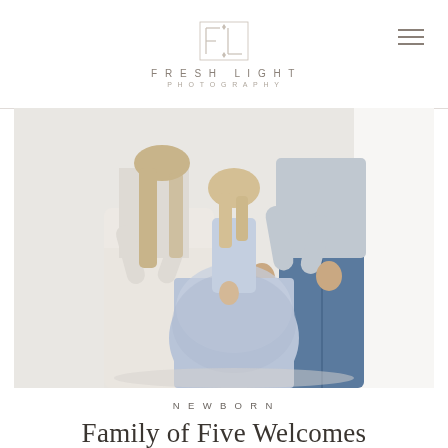FRESH LIGHT PHOTOGRAPHY
[Figure (photo): Family photo showing a woman in a flowing white/cream dress and a man in jeans holding the hands of a young girl in a light blue tulle dress, photographed from the torso down in a bright white studio setting]
NEWBORN
Family of Five Welcomes Baby Brother | Houston